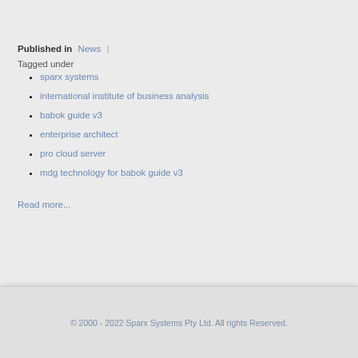Published in  News  |
Tagged under
sparx systems
international institute of business analysis
babok guide v3
enterprise architect
pro cloud server
mdg technology for babok guide v3
Read more...
© 2000 - 2022 Sparx Systems Pty Ltd. All rights Reserved.